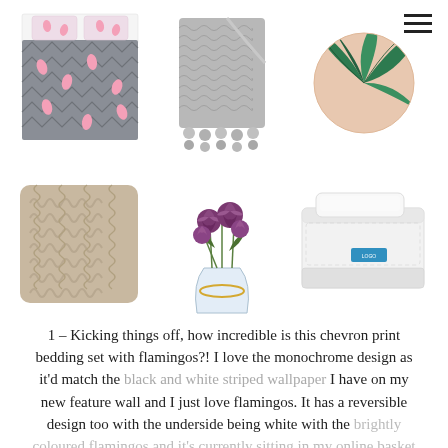[Figure (photo): Six product images arranged in a 3x2 grid: flamingo chevron bedding set (top-left), grey knit throw (top-center), circular palm leaf print (top-right), fluffy taupe cushion (bottom-left), purple roses in glass vase (bottom-center), white mattress with blue label (bottom-right)]
1 – Kicking things off, how incredible is this chevron print bedding set with flamingos?! I love the monochrome design as it'd match the black and white striped wallpaper I have on my new feature wall and I just love flamingos. It has a reversible design too with the underside being white with the brightly coloured flamingos and it's currently sitting in my online basket waiting for me to checkout.